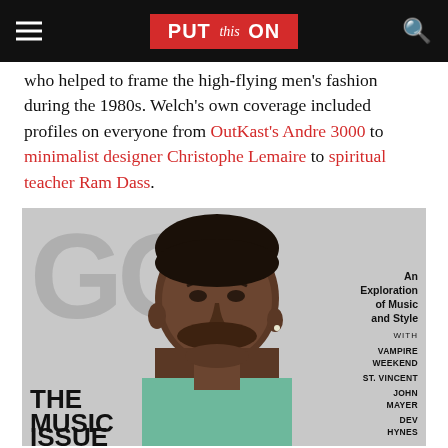PUT this ON
who helped to frame the high-flying men's fashion during the 1980s. Welch's own coverage included profiles on everyone from OutKast's Andre 3000 to minimalist designer Christophe Lemaire to spiritual teacher Ram Dass.
[Figure (photo): GQ magazine cover showing a man smiling, with GQ logo in gray on left, and text on the right reading 'An Exploration of Music and Style WITH VAMPIRE WEEKEND, ST. VINCENT, JOHN MAYER, DEV HYNES'. Bottom left reads 'THE MUSIC ISSUE'.]